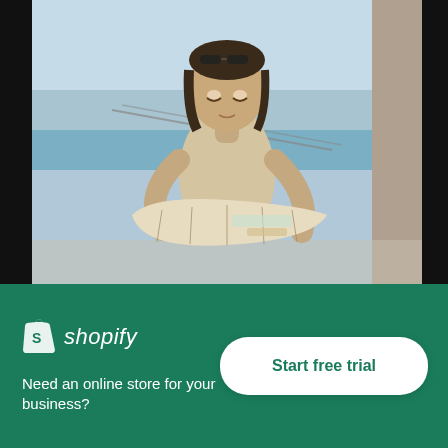[Figure (photo): Woman holding a large city map open in both hands, looking down at it. She is standing on a rooftop or elevated area with a river, bridge, and cityscape in the background. She is wearing a beige top and sunglasses on her head.]
Woman Holds A City Map Open In Both Hands And Looks At It
[Figure (logo): Shopify logo: white shopping bag icon with 'S' and italic white text 'shopify']
Need an online store for your business?
Start free trial